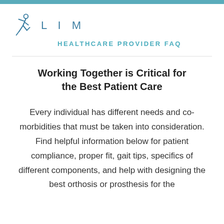[Figure (logo): LIM Healthcare logo with running figure silhouette in blue and stylized text 'LIM' with 'HEALTHCARE PROVIDER FAQ' subtitle]
Working Together is Critical for the Best Patient Care
Every individual has different needs and co-morbidities that must be taken into consideration. Find helpful information below for patient compliance, proper fit, gait tips, specifics of different components, and help with designing the best orthosis or prosthesis for the